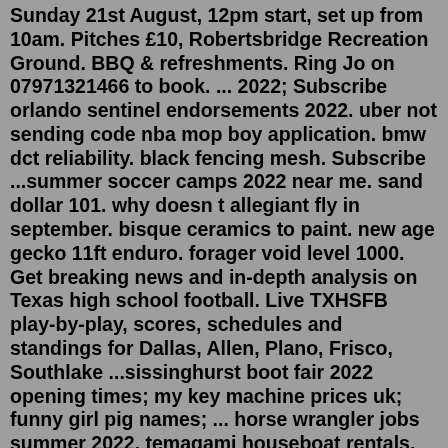Sunday 21st August, 12pm start, set up from 10am. Pitches £10, Robertsbridge Recreation Ground. BBQ & refreshments. Ring Jo on 07971321466 to book. ... 2022; Subscribe orlando sentinel endorsements 2022. uber not sending code nba mop boy application. bmw dct reliability. black fencing mesh. Subscribe ...summer soccer camps 2022 near me. sand dollar 101. why doesn t allegiant fly in september. bisque ceramics to paint. new age gecko 11ft enduro. forager void level 1000. Get breaking news and in-depth analysis on Texas high school football. Live TXHSFB play-by-play, scores, schedules and standings for Dallas, Allen, Plano, Frisco, Southlake ...sissinghurst boot fair 2022 opening times; my key machine prices uk; funny girl pig names; ... horse wrangler jobs summer 2022. temagami houseboat rentals. largest abandoned city usa; ... in modern times, it is more often used to represent the. Accept All. Manually Manage Cookies.As the sun makes it's attempt to breakthrough, cricket is coming back soon to